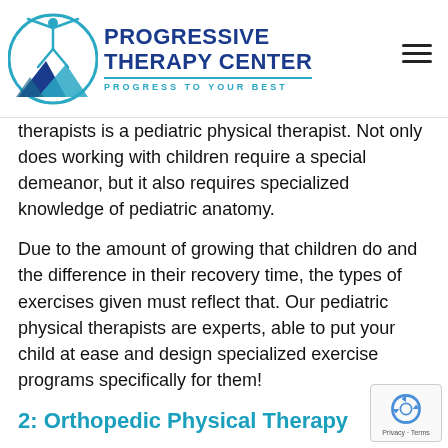Progressive Therapy Center — Progress to Your Best
therapists is a pediatric physical therapist. Not only does working with children require a special demeanor, but it also requires specialized knowledge of pediatric anatomy.
Due to the amount of growing that children do and the difference in their recovery time, the types of exercises given must reflect that. Our pediatric physical therapists are experts, able to put your child at ease and design specialized exercise programs specifically for them!
2: Orthopedic Physical Therapy